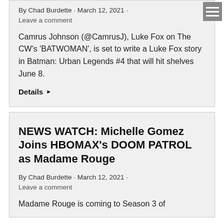By Chad Burdette · March 12, 2021 · Leave a comment
Camrus Johnson (@CamrusJ), Luke Fox on The CW's 'BATWOMAN', is set to write a Luke Fox story in Batman: Urban Legends #4 that will hit shelves June 8.
Details ▶
NEWS WATCH: Michelle Gomez Joins HBOMAX's DOOM PATROL as Madame Rouge
By Chad Burdette · March 12, 2021 · Leave a comment
Madame Rouge is coming to Season 3 of